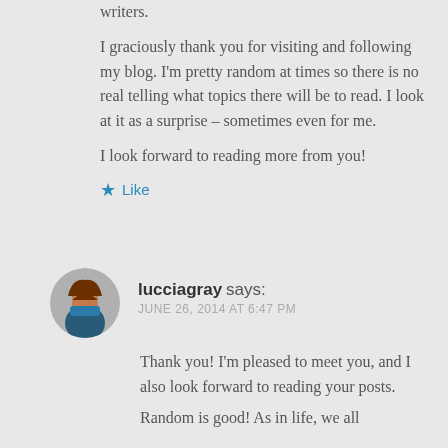writers. I graciously thank you for visiting and following my blog. I'm pretty random at times so there is no real telling what topics there will be to read. I look at it as a surprise – sometimes even for me.
I look forward to reading more from you!
★ Like
lucciagray says: JUNE 26, 2014 AT 6:47 PM
Thank you! I'm pleased to meet you, and I also look forward to reading your posts. Random is good! As in life, we all